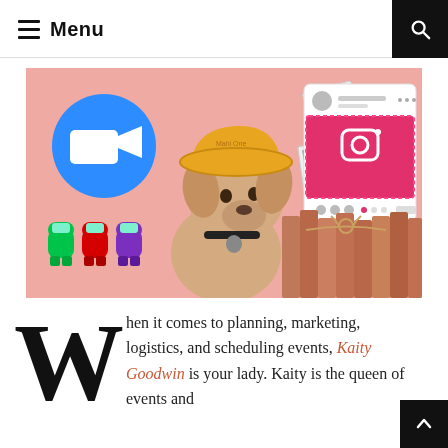≡ Menu
[Figure (photo): Collage image on pink background featuring a dog wearing a yellow bucket hat, Zoom video call icon (blue circle with white camera), scattered black and white polaroid photos, an Instagram UI mockup (pink and white), a stack of orange/terracotta books tied with twine, and three Among Us game characters (green, red, purple) in pixel art style.]
When it comes to planning, marketing, logistics, and scheduling events, Kaity Goodwin is your lady. Kaity is the queen of events and